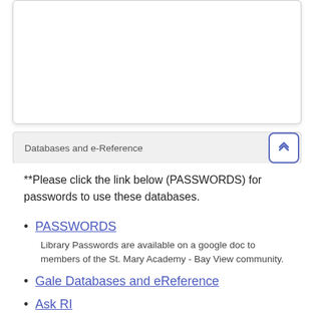Databases and e-Reference
**Please click the link below (PASSWORDS) for passwords to use these databases.
PASSWORDS
Library Passwords are available on a google doc to members of the St. Mary Academy - Bay View community.
Gale Databases and eReference
Ask RI
ABC-CLIO - Books